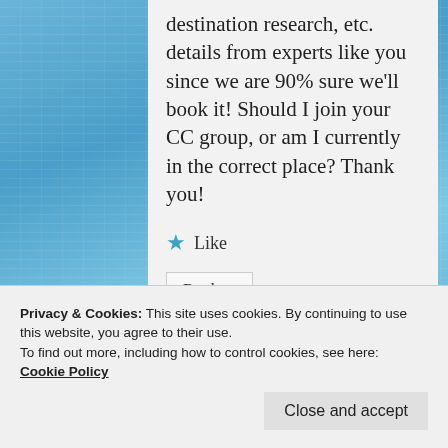destination research, etc. details from experts like you since we are 90% sure we'll book it! Should I join your CC group, or am I currently in the correct place? Thank you!
★ Like
Reply ↓
Privacy & Cookies: This site uses cookies. By continuing to use this website, you agree to their use.
To find out more, including how to control cookies, see here: Cookie Policy
Close and accept